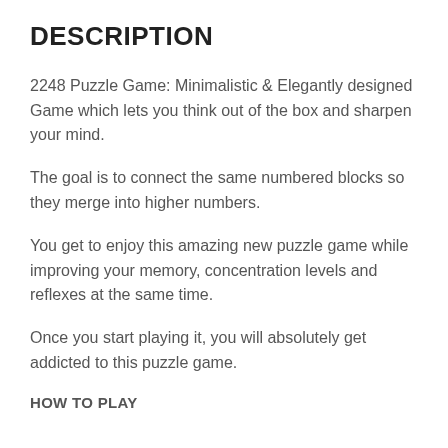DESCRIPTION
2248 Puzzle Game: Minimalistic & Elegantly designed Game which lets you think out of the box and sharpen your mind.
The goal is to connect the same numbered blocks so they merge into higher numbers.
You get to enjoy this amazing new puzzle game while improving your memory, concentration levels and reflexes at the same time.
Once you start playing it, you will absolutely get addicted to this puzzle game.
HOW TO PLAY